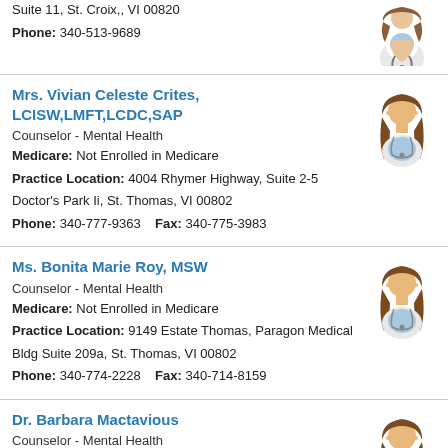Suite 11, St. Croix,, VI 00820
Phone: 340-513-9689
Mrs. Vivian Celeste Crites, LCISW,LMFT,LCDC,SAP
Counselor - Mental Health
Medicare: Not Enrolled in Medicare
Practice Location: 4004 Rhymer Highway, Suite 2-5
Doctor's Park Ii, St. Thomas, VI 00802
Phone: 340-777-9363    Fax: 340-775-3983
Ms. Bonita Marie Roy, MSW
Counselor - Mental Health
Medicare: Not Enrolled in Medicare
Practice Location: 9149 Estate Thomas, Paragon Medical Bldg Suite 209a, St. Thomas, VI 00802
Phone: 340-774-2228    Fax: 340-714-8159
Dr. Barbara Mactavious
Counselor - Mental Health
Medicare: Not Enrolled in Medicare